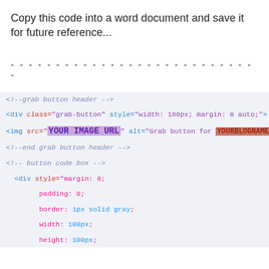Copy this code into a word document and save it for future reference...
- - - - - - - - - - - - - - - - - - - - - - - - - - - -
<!--grab button header -->
<div class="grab-button" style="width: 180px; margin: 0 auto;">
<img src="YOUR IMAGE URL" alt="Grab button for YOURBLOGNAME" width="1...
<!--end grab button header -->
<!-- button code box -->
  <div style="margin: 0;
      padding: 0;
      border: 1px solid gray;
      width: 180px;
      height: 100px;